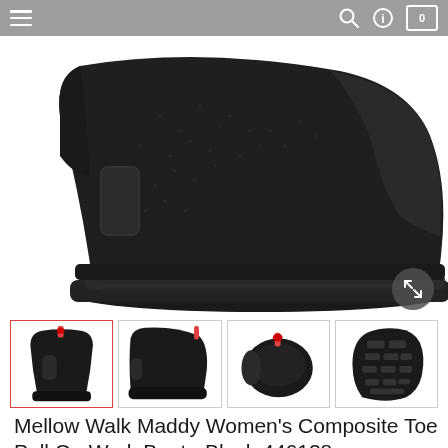Navigation bar with menu, search, info, and cart icons
[Figure (photo): Close-up photo of a black Mellow Walk Maddy women's composite toe pull-on work boot against white background, showing the toe and side profile]
[Figure (photo): Four thumbnail images of the Mellow Walk Maddy boot: front view, side view, top view, and sole view]
Mellow Walk Maddy Women's Composite Toe Pull On Work Boot - Black 446128
★★★★★ 22 reviews
MODEL 446128